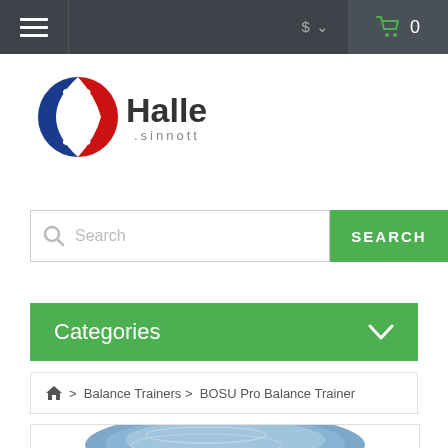Navigation bar with hamburger menu, currency selector ($), and cart (0)
[Figure (logo): Halle Sinnott logo: circular emblem with blue and red swoosh, text 'Halle' in bold dark and '.sinnott' in grey]
Search
Categories
🏠 > Balance Trainers > BOSU Pro Balance Trainer
[Figure (photo): BOSU Pro Balance Trainer product photo, top portion visible showing blue dome with grey base]